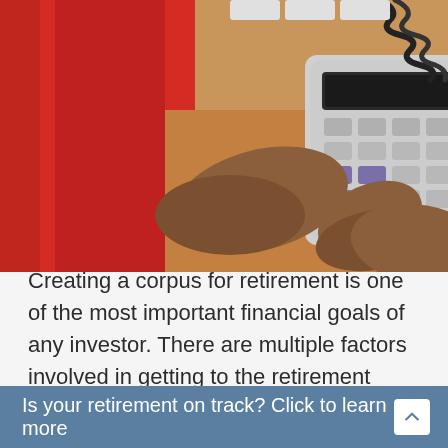[Figure (photo): An overhead view of a person's hands using a calculator, with red folders/binder on a wooden desk, and a coiled phone cord visible in the background.]
Creating a corpus for retirement is one of the most important financial goals of any investor. There are multiple factors involved in getting to the retirement
Is your retirement on track? Click to learn more